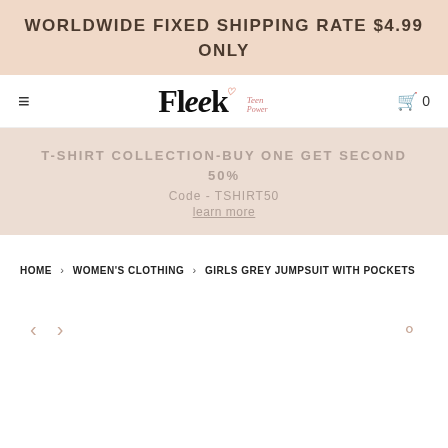WORLDWIDE FIXED SHIPPING RATE $4.99 ONLY
[Figure (logo): Fleek Teen Power logo with stylized text and small heart icon]
T-SHIRT COLLECTION-BUY ONE GET SECOND 50%
Code - TSHIRT50
learn more
HOME > WOMEN'S CLOTHING > GIRLS GREY JUMPSUIT WITH POCKETS